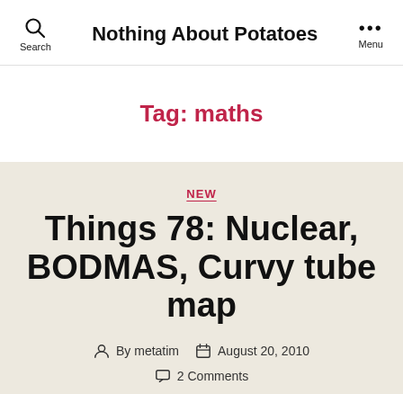Nothing About Potatoes
Tag: maths
NEW
Things 78: Nuclear, BODMAS, Curvy tube map
By metatim  August 20, 2010
2 Comments